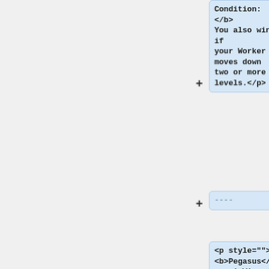Condition:</b> You also win if your Worker moves down two or more levels.</p>
----
<p style=""> <b>Pegasus</b>, <i>Winged Horse</i>
<br> <small>Players: 2, 3, 4 &mdash; Golden Fleece Variant</small> </p>
<p style="padding-left: 2em;">